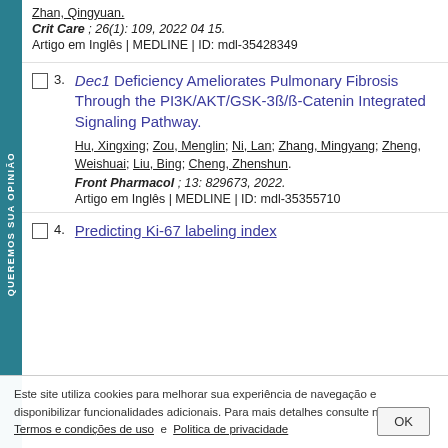Zhan, Qingyuan.
Crit Care ; 26(1): 109, 2022 04 15.
Artigo em Inglês | MEDLINE | ID: mdl-35428349
3. Dec1 Deficiency Ameliorates Pulmonary Fibrosis Through the PI3K/AKT/GSK-3ß/ß-Catenin Integrated Signaling Pathway. Hu, Xingxing; Zou, Menglin; Ni, Lan; Zhang, Mingyang; Zheng, Weishuai; Liu, Bing; Cheng, Zhenshun. Front Pharmacol ; 13: 829673, 2022. Artigo em Inglês | MEDLINE | ID: mdl-35355710
4. Predicting Ki-67 labeling index...
Este site utiliza cookies para melhorar sua experiência de navegação e disponibilizar funcionalidades adicionais. Para mais detalhes consulte nossos Termos e condições de uso e Politica de privacidade